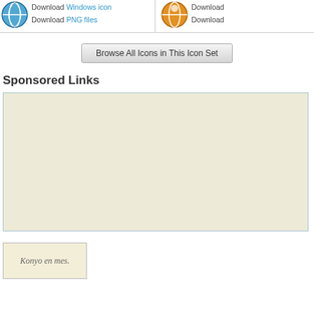Download Windows icon
Download PNG files
Download
Download
Browse All Icons in This Icon Set
Sponsored Links
[Figure (other): Beige/cream colored advertisement box with light blue border]
[Figure (photo): Thumbnail image showing handwritten cursive text 'Konyo en mes']